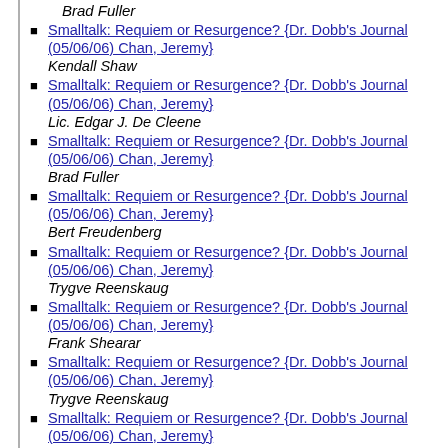Brad Fuller
Smalltalk: Requiem or Resurgence? {Dr. Dobb's Journal (05/06/06) Chan, Jeremy} Kendall Shaw
Smalltalk: Requiem or Resurgence? {Dr. Dobb's Journal (05/06/06) Chan, Jeremy} Lic. Edgar J. De Cleene
Smalltalk: Requiem or Resurgence? {Dr. Dobb's Journal (05/06/06) Chan, Jeremy} Brad Fuller
Smalltalk: Requiem or Resurgence? {Dr. Dobb's Journal (05/06/06) Chan, Jeremy} Bert Freudenberg
Smalltalk: Requiem or Resurgence? {Dr. Dobb's Journal (05/06/06) Chan, Jeremy} Trygve Reenskaug
Smalltalk: Requiem or Resurgence? {Dr. Dobb's Journal (05/06/06) Chan, Jeremy} Frank Shearar
Smalltalk: Requiem or Resurgence? {Dr. Dobb's Journal (05/06/06) Chan, Jeremy} Trygve Reenskaug
Smalltalk: Requiem or Resurgence? {Dr. Dobb's Journal (05/06/06) Chan, Jeremy} Steven W. Riggins